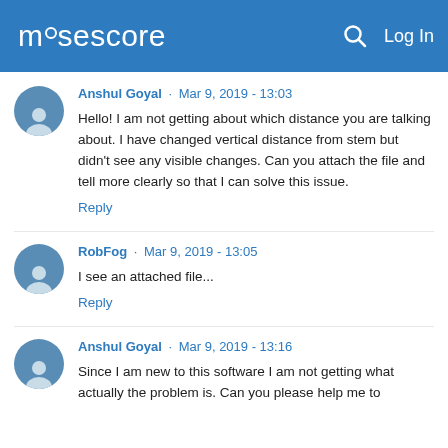musescore  Log In
Anshul Goyal · Mar 9, 2019 - 13:03
Hello! I am not getting about which distance you are talking about. I have changed vertical distance from stem but didn't see any visible changes. Can you attach the file and tell more clearly so that I can solve this issue.
Reply
RobFog · Mar 9, 2019 - 13:05
I see an attached file...
Reply
Anshul Goyal · Mar 9, 2019 - 13:16
Since I am new to this software I am not getting what actually the problem is. Can you please help me to